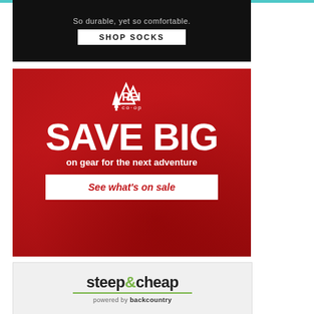[Figure (advertisement): Black background banner ad with text 'So durable, yet so comfortable.' and a white button 'SHOP SOCKS']
[Figure (advertisement): REI Co-op red background ad with mountain scenery, REI logo, large white text 'SAVE BIG on gear for the next adventure', and a white button 'See what's on sale']
[Figure (logo): steep&cheap powered by backcountry logo on light gray background]